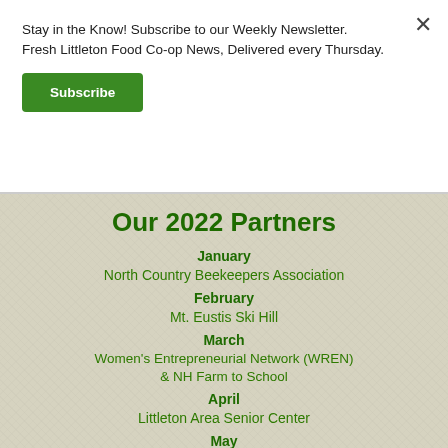Stay in the Know! Subscribe to our Weekly Newsletter. Fresh Littleton Food Co-op News, Delivered every Thursday.
Subscribe
Our 2022 Partners
January
North Country Beekeepers Association
February
Mt. Eustis Ski Hill
March
Women's Entrepreneurial Network (WREN)
& NH Farm to School
April
Littleton Area Senior Center
May
Adaptive Sports Partners of the North Country